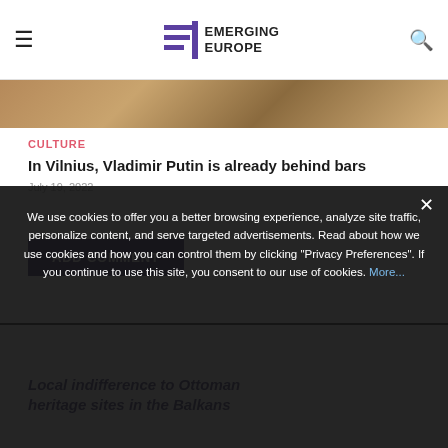Emerging Europe
[Figure (photo): Partial view of an article hero image showing a textured surface]
CULTURE
In Vilnius, Vladimir Putin is already behind bars
July 19, 2022
ADD COMMENT
We use cookies to offer you a better browsing experience, analyze site traffic, personalize content, and serve targeted advertisements. Read about how we use cookies and how you can control them by clicking "Privacy Preferences". If you continue to use this site, you consent to our use of cookies. More...
Local indifference to Ottoman heritage sites in the Balkans